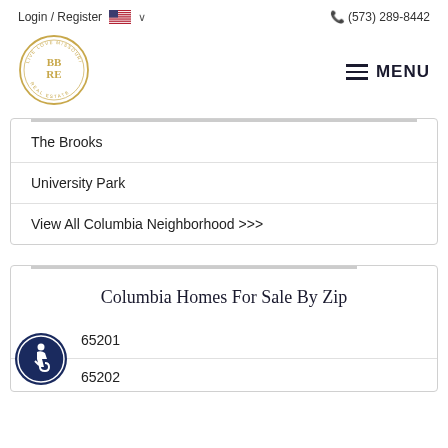Login / Register   (573) 289-8442
[Figure (logo): Circular gold logo with letters BBR and text LIVE LOVE MISSOURI REAL ESTATE]
MENU
The Brooks
University Park
View All Columbia Neighborhood >>>
Columbia Homes For Sale By Zip
65201
65202